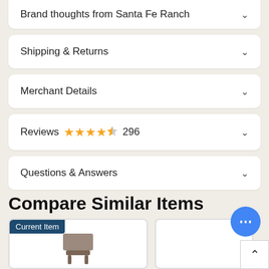Brand thoughts from Santa Fe Ranch
Shipping & Returns
Merchant Details
Reviews ★★★★½ 296
Questions & Answers
Compare Similar Items
[Figure (screenshot): Current Item product card showing a chair image with teal header badge reading 'Current Item']